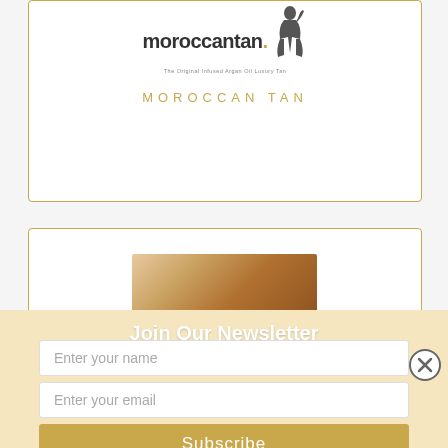[Figure (logo): Moroccan Tan brand logo with text 'moroccantan.' and tagline 'The Original Infused Argan Oil Luxury Tan' with a female figure silhouette]
MOROCCAN TAN
[Figure (photo): Close-up photo of a person's skin/face with tanned appearance]
Join Our Newsletter
Enter your name
Enter your email
Subscribe